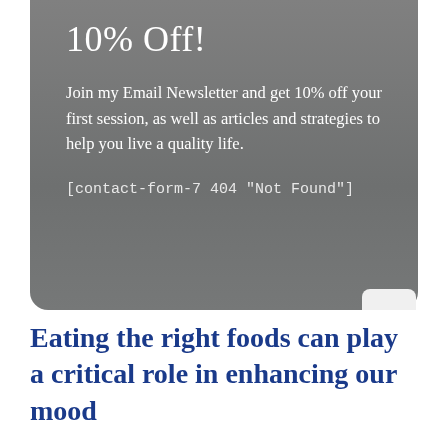10% Off!
Join my Email Newsletter and get 10% off your first session, as well as articles and strategies to help you live a quality life.
[contact-form-7 404 "Not Found"]
Eating the right foods can play a critical role in enhancing our mood